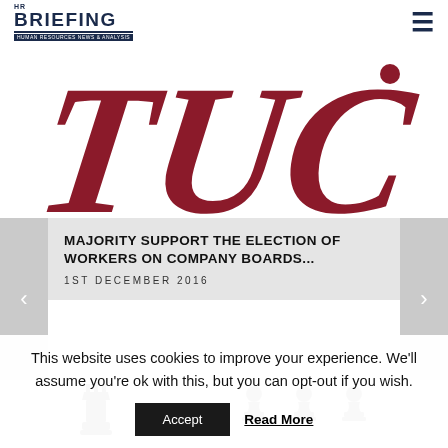HR BRIEFING - HUMAN RESOURCES NEWS & ANALYSIS
[Figure (logo): TUC logo - large red italic TUC text, partially cropped]
MAJORITY SUPPORT THE ELECTION OF WORKERS ON COMPANY BOARDS...
1ST DECEMBER 2016
[Figure (illustration): Chess pieces - one king piece on the left, three pawns on the right]
This website uses cookies to improve your experience. We'll assume you're ok with this, but you can opt-out if you wish.